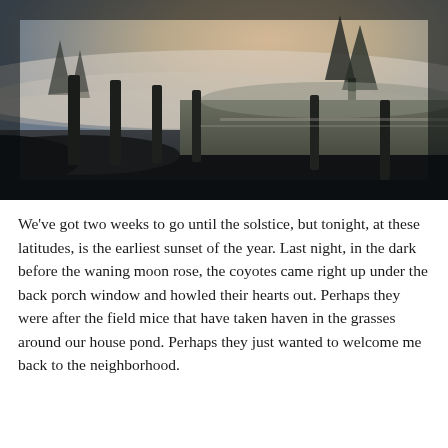[Figure (photo): A moody winter landscape photograph showing frost-covered grasses and wooden fence posts in a foggy field at dawn or dusk. Dark silhouettes of evergreen trees are visible against a pale sky in the background. The scene is misty and atmospheric with a cold, blue-grey tone.]
We've got two weeks to go until the solstice, but tonight, at these latitudes, is the earliest sunset of the year. Last night, in the dark before the waning moon rose, the coyotes came right up under the back porch window and howled their hearts out. Perhaps they were after the field mice that have taken haven in the grasses around our house pond. Perhaps they just wanted to welcome me back to the neighborhood.